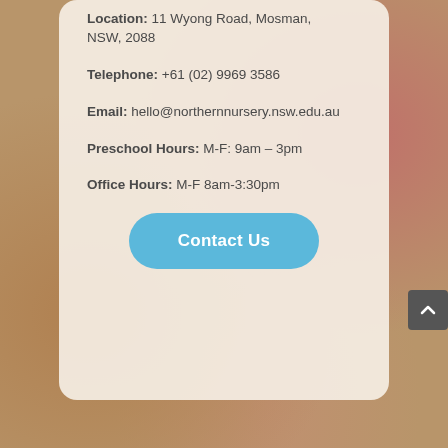Location: 11 Wyong Road, Mosman, NSW, 2088
Telephone: +61 (02) 9969 3586
Email: hello@northernnursery.nsw.edu.au
Preschool Hours: M-F: 9am - 3pm
Office Hours: M-F 8am-3:30pm
Contact Us